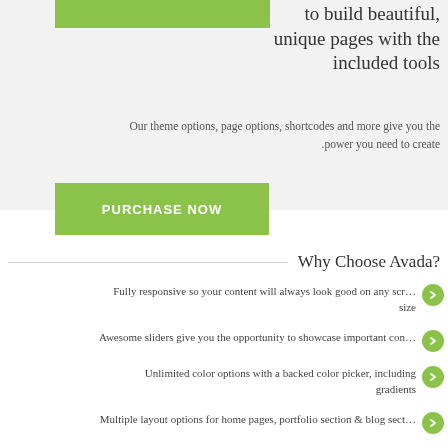[Figure (other): Green button/bar at top left]
to build beautiful, unique pages with the included tools
Our theme options, page options, shortcodes and more give you the power you need to create.
PURCHASE NOW
Why Choose Avada?
Fully responsive so your content will always look good on any screen size
Awesome sliders give you the opportunity to showcase important content
Unlimited color options with a backed color picker, including gradients
Multiple layout options for home pages, portfolio section & blog section